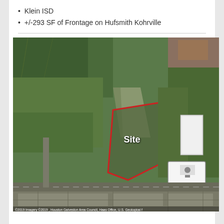Klein ISD
+/-293 SF of Frontage on Hufsmith Kohrville
[Figure (photo): Aerial satellite map showing a triangular parcel of land outlined in red, labeled 'Site', surrounded by green fields and residential development. A white building is visible to the right of the site, along with a map inset marker. Roads are visible at the bottom and sides of the image.]
©2019 Imagery ©2019 , Houston Galveston Area Council, Haas Office, U.S. Geological f